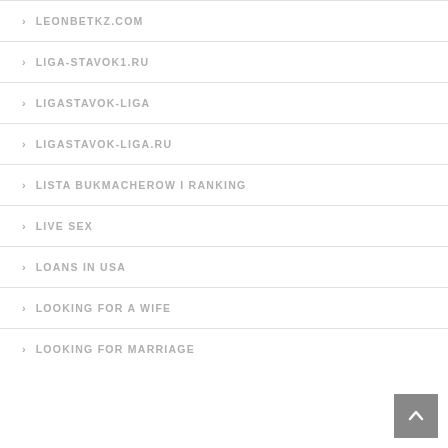LEONBETKZ.COM
LIGA-STAVOK1.RU
LIGASTAVOK-LIGA
LIGASTAVOK-LIGA.RU
LISTA BUKMACHEROW I RANKING
LIVE SEX
LOANS IN USA
LOOKING FOR A WIFE
LOOKING FOR MARRIAGE